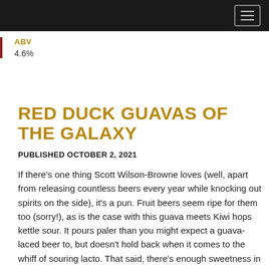ABV
4.6%
RED DUCK GUAVAS OF THE GALAXY
PUBLISHED OCTOBER 2, 2021
If there's one thing Scott Wilson-Browne loves (well, apart from releasing countless beers every year while knocking out spirits on the side), it's a pun. Fruit beers seem ripe for them too (sorry!), as is the case with this guava meets Kiwi hops kettle sour. It pours paler than you might expect a guava-laced beer to, but doesn't hold back when it comes to the whiff of souring lacto. That said, there's enough sweetness in the mix to